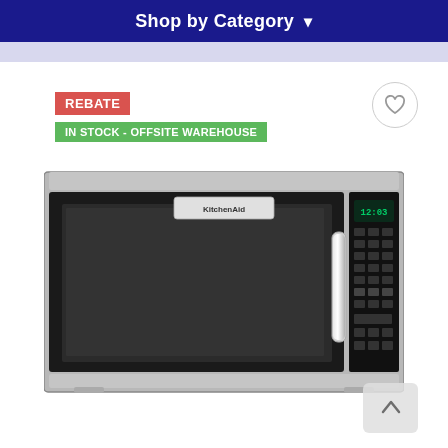Shop by Category
REBATE
IN STOCK - OFFSITE WAREHOUSE
[Figure (photo): KitchenAid over-the-range microwave oven in stainless steel with black door, digital display showing 12:03, and control panel on the right side.]